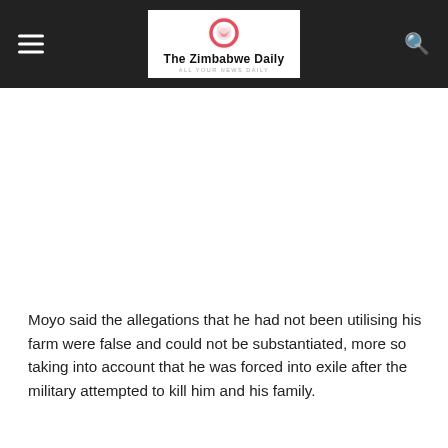The Zimbabwe Daily
Moyo said the allegations that he had not been utilising his farm were false and could not be substantiated, more so taking into account that he was forced into exile after the military attempted to kill him and his family.
withdrawal of the offer letter is based on material
[Figure (screenshot): Advertisement overlay: black circle logo with arrow icon, 'In-store shopping' text with green checkmark, blue diamond navigation icon]
[Figure (logo): The Zimbabwe Daily logo: red/pink circle icon above text 'The Zimbabwe Daily' with tagline]